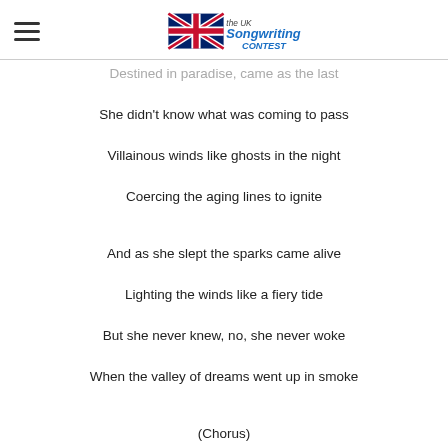The UK Songwriting Contest (logo)
Destined in paradise, came as the last
She didn't know what was coming to pass
Villainous winds like ghosts in the night
Coercing the aging lines to ignite

And as she slept the sparks came alive
Lighting the winds like a fiery tide
But she never knew, no, she never woke
When the valley of dreams went up in smoke

(Chorus)
She never called to tell them her fate
For years in the making, it was too late
But as her children were soon to learn
She lay fast asleep while paradise burned

Soft amber glow of the last golden light
The hills spread before him like a lover at night